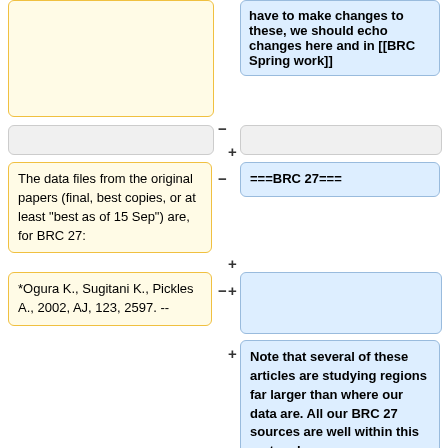have to make changes to these, we should echo changes here and in [[BRC Spring work]]
The data files from the original papers (final, best copies, or at least "best as of 15 Sep") are, for BRC 27:
===BRC 27===
*Ogura K., Sugitani K., Pickles A., 2002, AJ, 123, 2597. --
Note that several of these articles are studying regions far larger than where our data are. All our BRC 27 sources are well within this rectangle:
* 106.1 and 105.9 degrees RA (J2000) and -11.6 and -11.2 degrees declination (J2000)
* or, in sexagessimal, 07 04 24.0 -11 36 00 and 07 03 36.0 -11 12 00 in J2000